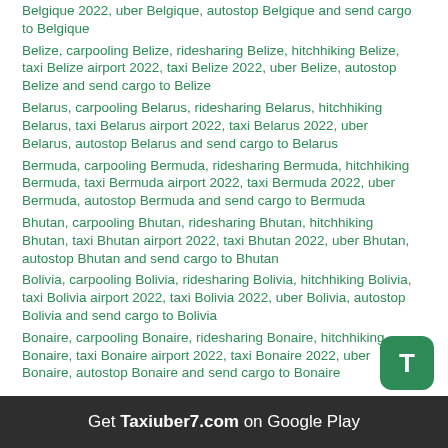Belgique 2022, uber Belgique, autostop Belgique and send cargo to Belgique
Belize, carpooling Belize, ridesharing Belize, hitchhiking Belize, taxi Belize airport 2022, taxi Belize 2022, uber Belize, autostop Belize and send cargo to Belize
Belarus, carpooling Belarus, ridesharing Belarus, hitchhiking Belarus, taxi Belarus airport 2022, taxi Belarus 2022, uber Belarus, autostop Belarus and send cargo to Belarus
Bermuda, carpooling Bermuda, ridesharing Bermuda, hitchhiking Bermuda, taxi Bermuda airport 2022, taxi Bermuda 2022, uber Bermuda, autostop Bermuda and send cargo to Bermuda
Bhutan, carpooling Bhutan, ridesharing Bhutan, hitchhiking Bhutan, taxi Bhutan airport 2022, taxi Bhutan 2022, uber Bhutan, autostop Bhutan and send cargo to Bhutan
Bolivia, carpooling Bolivia, ridesharing Bolivia, hitchhiking Bolivia, taxi Bolivia airport 2022, taxi Bolivia 2022, uber Bolivia, autostop Bolivia and send cargo to Bolivia
Bonaire, carpooling Bonaire, ridesharing Bonaire, hitchhiking Bonaire, taxi Bonaire airport 2022, taxi Bonaire 2022, uber Bonaire, autostop Bonaire and send cargo to Bonaire
Get Taxiuber7.com on Google Play